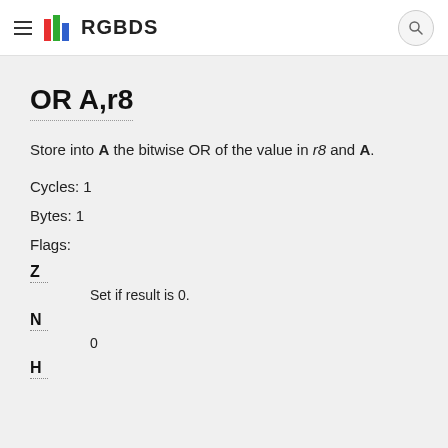RGBDS
OR A,r8
Store into A the bitwise OR of the value in r8 and A.
Cycles: 1
Bytes: 1
Flags:
Z
Set if result is 0.
N
0
H